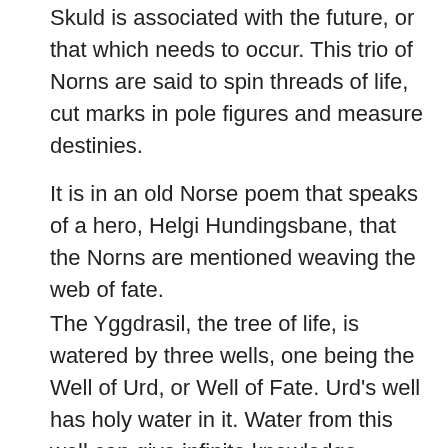Skuld is associated with the future, or that which needs to occur. This trio of Norns are said to spin threads of life, cut marks in pole figures and measure destinies.
It is in an old Norse poem that speaks of a hero, Helgi Hundingsbane, that the Norns are mentioned weaving the web of fate.
The Yggdrasil, the tree of life, is watered by three wells, one being the Well of Urd, or Well of Fate. Urd's well has holy water in it. Water from this well can give infinite knowledge.
Urd, Verdandi, and Skuld were said to live in this well, and in the base of this tree where...